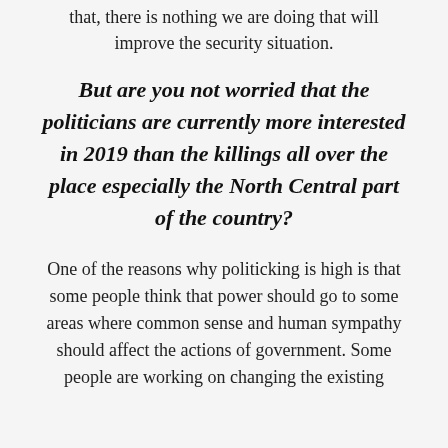that, there is nothing we are doing that will improve the security situation.
But are you not worried that the politicians are currently more interested in 2019 than the killings all over the place especially the North Central part of the country?
One of the reasons why politicking is high is that some people think that power should go to some areas where common sense and human sympathy should affect the actions of government. Some people are working on changing the existing